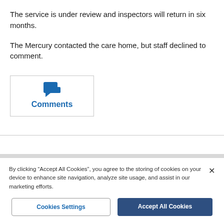The service is under review and inspectors will return in six months.
The Mercury contacted the care home, but staff declined to comment.
[Figure (other): Comments tab/button with blue speech bubble icon and blue 'Comments' label text, inside a bordered box]
By clicking “Accept All Cookies”, you agree to the storing of cookies on your device to enhance site navigation, analyze site usage, and assist in our marketing efforts.
Cookies Settings
Accept All Cookies